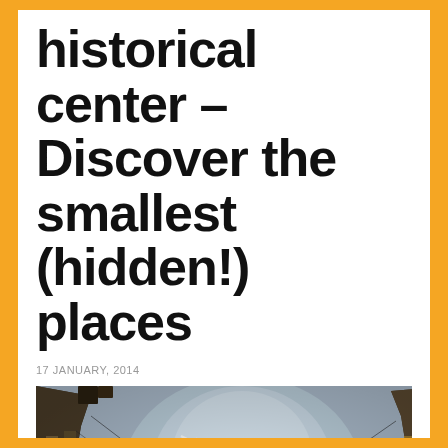historical center – Discover the smallest (hidden!) places
17 JANUARY, 2014
[Figure (photo): Fish-eye upward view of a narrow courtyard surrounded by tall urban buildings, with a blue sky and aircraft contrail visible above, shot from ground level looking up. Watermark: www.cocoonbarcelona.com]